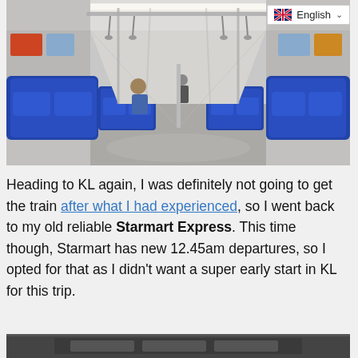[Figure (photo): Interior of a metro/subway train car with blue seats, wide-angle view looking down the aisle. A few passengers visible. English language selector badge in top-right corner.]
Heading to KL again, I was definitely not going to get the train after what I had experienced, so I went back to my old reliable Starmart Express. This time though, Starmart has new 12.45am departures, so I opted for that as I didn't want a super early start in KL for this trip.
[Figure (photo): Partial bottom strip of another photo — appears to be a bus or transport vehicle interior.]